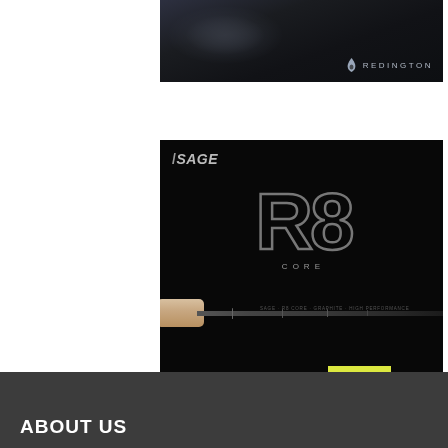[Figure (photo): Redington brand banner with dark background showing water/fishing imagery and Redington logo in bottom right]
[Figure (photo): Sage R8 Core fly fishing rod advertisement on black background. Shows Sage logo top left, large stylized R8 text in center, CORE subtitle, a fly rod image across the middle, NOW AVAILABLE text and SHOP R8 yellow button at bottom.]
ABOUT US